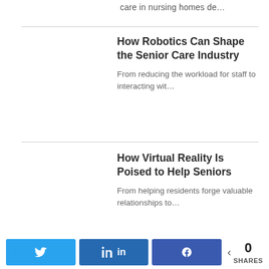care in nursing homes de…
How Robotics Can Shape the Senior Care Industry
From reducing the workload for staff to interacting wit…
How Virtual Reality Is Poised to Help Seniors
From helping residents forge valuable relationships to…
Share buttons: Twitter, LinkedIn, Facebook | 0 SHARES